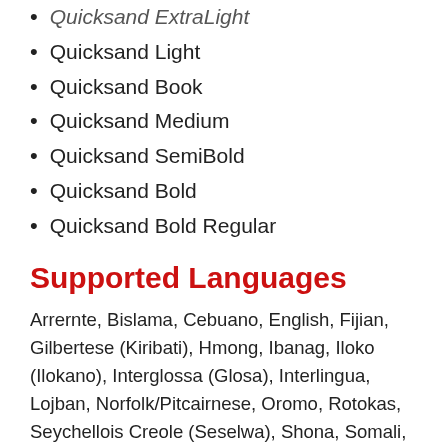Quicksand ExtraLight (partial, cut off at top)
Quicksand Light
Quicksand Book
Quicksand Medium
Quicksand SemiBold
Quicksand Bold
Quicksand Bold Regular
Supported Languages
Arrernte, Bislama, Cebuano, English, Fijian, Gilbertese (Kiribati), Hmong, Ibanag, Iloko (Ilokano), Interglossa (Glosa), Interlingua, Lojban, Norfolk/Pitcairnese, Oromo, Rotokas, Seychellois Creole (Seselwa), Shona, Somali, Southern Ndebele, Swahili, Swati/Swazi, Tok Pisin, Warlpiri, Xhosa, Zulu.
License Info